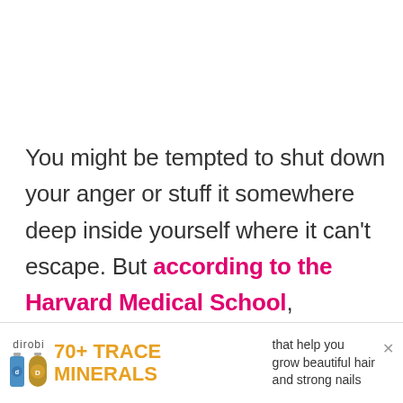You might be tempted to shut down your anger or stuff it somewhere deep inside yourself where it can't escape. But according to the Harvard Medical School, expressing anger is an important step in releasing it. Find a healthy way to express your rage, such as writing an angry letter to your former employer and burning it, hitting a punching bag, or sitting
[Figure (infographic): Advertisement banner for dirobi 70+ TRACE MINERALS product showing two supplement bottles, brand logo, product name in orange text, and tagline 'that help you grow beautiful hair and strong nails' with close button]